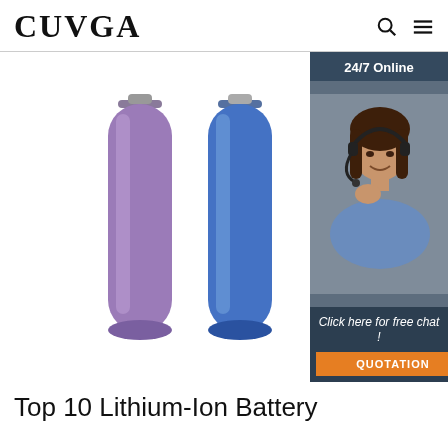CUVGA
[Figure (photo): Two lithium-ion cylindrical batteries side by side: one purple on the left and one blue on the right, with a customer service ad panel on the far right showing '24/7 Online', a smiling woman with a headset, 'Click here for free chat!' and an orange QUOTATION button.]
Top 10 Lithium-Ion Battery